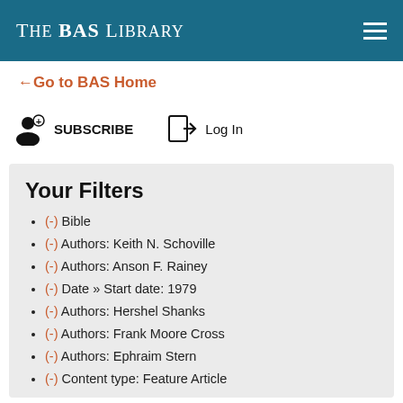The BAS Library
← Go to BAS Home
SUBSCRIBE   Log In
Your Filters
(-) Bible
(-) Authors: Keith N. Schoville
(-) Authors: Anson F. Rainey
(-) Date » Start date: 1979
(-) Authors: Hershel Shanks
(-) Authors: Frank Moore Cross
(-) Authors: Ephraim Stern
(-) Content type: Feature Article